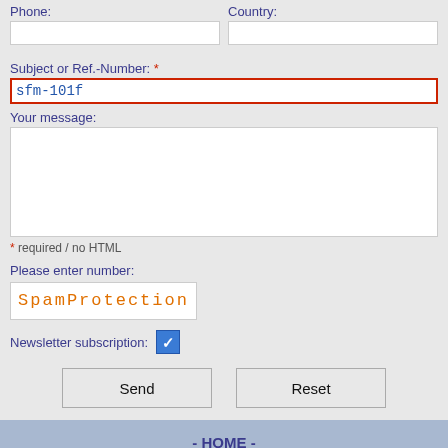[Figure (screenshot): Web contact form for Guzmán Fischer & Acreare real estate company. Contains fields for phone, country, subject/ref-number (pre-filled with sfm-101f), message textarea, spam protection CAPTCHA, newsletter subscription checkbox, Send and Reset buttons, and a footer with company info.]
Phone:
Country:
Subject or Ref.-Number: *
sfm-101f
Your message:
* required / no HTML
Please enter number:
SpamProtection
Newsletter subscription:
- HOME -
Guzmán Fischer & Acreare, S.A. - Grupo Inmobiliario • La Vega • Dominican Republic
www.dr-invest.com • www.acreare.com • www.domrep-immobilien.com • www.acreare.com